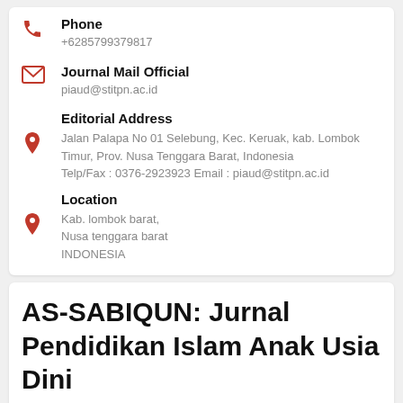Phone
+6285799379817
Journal Mail Official
piaud@stitpn.ac.id
Editorial Address
Jalan Palapa No 01 Selebung, Kec. Keruak, kab. Lombok Timur, Prov. Nusa Tenggara Barat, Indonesia Telp/Fax : 0376-2923923 Email : piaud@stitpn.ac.id
Location
Kab. lombok barat,
Nusa tenggara barat
INDONESIA
AS-SABIQUN: Jurnal Pendidikan Islam Anak Usia Dini
assabiqun